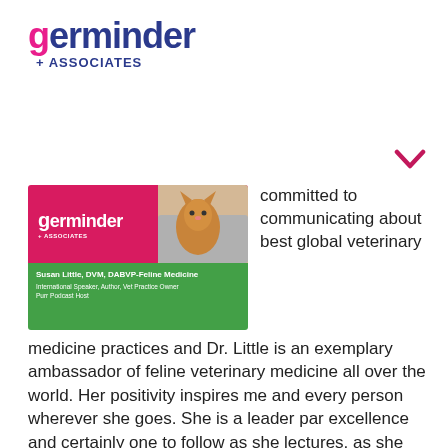[Figure (logo): Germinder + Associates logo with pink 'g' and blue 'erminder' text]
[Figure (photo): Germinder + Associates promotional banner featuring Susan Little, DVM, DABVP-Feline Medicine, International Speaker, Author, Vet Practice Owner, Purr Podcast Host, with a cat photo on a pink/red and green background]
committed to communicating about best global veterinary medicine practices and Dr. Little is an exemplary ambassador of feline veterinary medicine all over the world. Her positivity inspires me and every person wherever she goes. She is a leader par excellence and certainly one to follow as she lectures, as she podcasts, and in our ever changing digital world. I'm so pleased to celebrate her as a Power of Pink